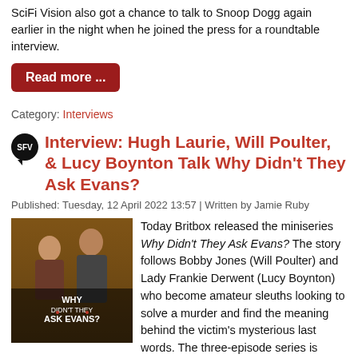SciFi Vision also got a chance to talk to Snoop Dogg again earlier in the night when he joined the press for a roundtable interview.
Read more ...
Category: Interviews
Interview: Hugh Laurie, Will Poulter, & Lucy Boynton Talk Why Didn't They Ask Evans?
Published: Tuesday, 12 April 2022 13:57 | Written by Jamie Ruby
[Figure (photo): Cover art for Why Didn't They Ask Evans? miniseries showing two actors with the title text overlay on a dark amber background]
Today Britbox released the miniseries Why Didn't They Ask Evans? The story follows Bobby Jones (Will Poulter) and Lady Frankie Derwent (Lucy Boynton) who become amateur sleuths looking to solve a murder and find the meaning behind the victim's mysterious last words. The three-episode series is based on the Agatha Christie mystery, with a script by Hugh Laurie, who also directs and executive produces, as well as plays the role of Dr. James Nicholson.
Last week, SciFi Vision talked to Laurie during a press conference with the three performers to promote the adaptation about the difficulties choosing